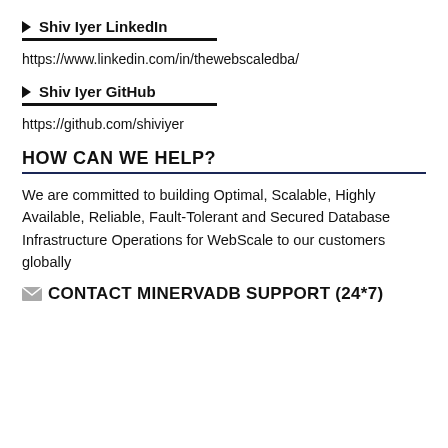▶ Shiv Iyer LinkedIn
https://www.linkedin.com/in/thewebscaledba/
▶ Shiv Iyer GitHub
https://github.com/shiviyer
HOW CAN WE HELP?
We are committed to building Optimal, Scalable, Highly Available, Reliable, Fault-Tolerant and Secured Database Infrastructure Operations for WebScale to our customers globally
CONTACT MINERVADB SUPPORT (24*7)